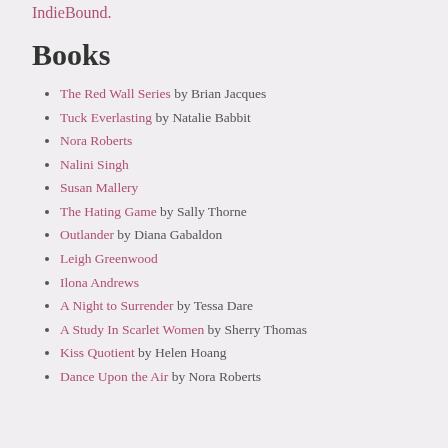IndieBound.
Books
The Red Wall Series by Brian Jacques
Tuck Everlasting by Natalie Babbit
Nora Roberts
Nalini Singh
Susan Mallery
The Hating Game by Sally Thorne
Outlander by Diana Gabaldon
Leigh Greenwood
Ilona Andrews
A Night to Surrender by Tessa Dare
A Study In Scarlet Women by Sherry Thomas
Kiss Quotient by Helen Hoang
Dance Upon the Air by Nora Roberts